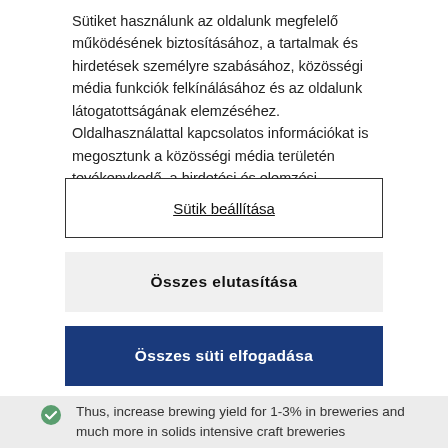Sütiket használunk az oldalunk megfelelő működésének biztosításához, a tartalmak és hirdetések személyre szabásához, közösségi média funkciók felkínálásához és az oldalunk látogatottságának elemzéséhez. Oldalhasználattal kapcsolatos információkat is megosztunk a közösségi média területén tevékenykedő, a hirdetési és elemzési szolgáltatásokat nyújtó partnereinkkel.
Sütik beállítása
Összes elutasítása
Összes süti elfogadása
Thus, increase brewing yield for 1-3% in breweries and much more in solids intensive craft breweries
Maintain or increase wort quality parameters, mainly due to up to 10-20% shorter whirlpool process time – based on technical validation report by VL